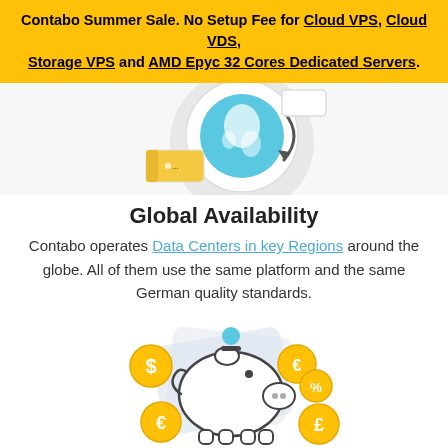Contabo Summer Sale. No Setup Fee for Cloud VPS, Cloud VDS, Storage VPS and AMD Epyc 32 Cores Dedicated Servers.
[Figure (illustration): Illustration of a globe with arrows and a USB/storage device icon, partially cropped at top]
Global Availability
Contabo operates Data Centers in key Regions around the globe. All of them use the same platform and the same German quality standards.
[Figure (illustration): Illustration of a piggy bank with currency coins (dollar, euro, pound, percent) around it]
Incredible Prices